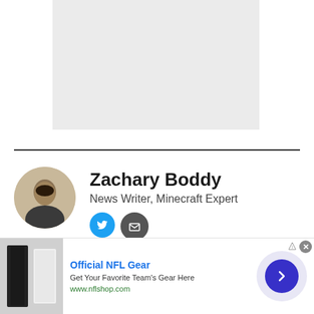[Figure (other): Gray placeholder image box]
Zachary Boddy
News Writer, Minecraft Expert
[Figure (other): Advertisement banner: Official NFL Gear - Get Your Favorite Team's Gear Here - www.nflshop.com]